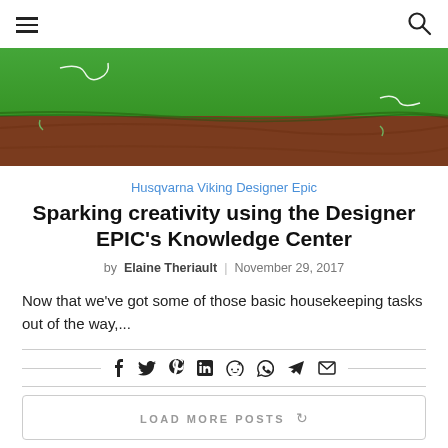hamburger menu | search icon
[Figure (photo): Close-up photo of green felt fabric over dark reddish-brown wood, with white thread/string visible.]
Husqvarna Viking Designer Epic
Sparking creativity using the Designer EPIC's Knowledge Center
by Elaine Theriault | November 29, 2017
Now that we've got some of those basic housekeeping tasks out of the way,...
Social share icons: Facebook, Twitter, Pinterest, LinkedIn, Reddit, WhatsApp, Telegram, Email
LOAD MORE POSTS